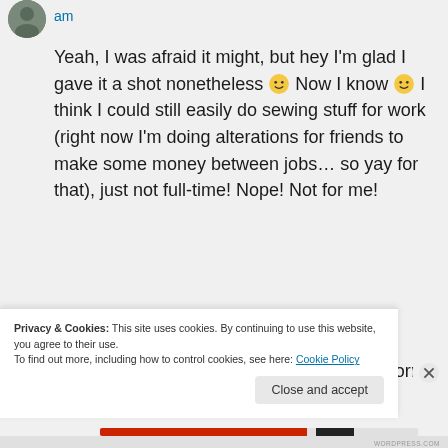am
Yeah, I was afraid it might, but hey I'm glad I gave it a shot nonetheless 🙂 Now I know 🙂 I think I could still easily do sewing stuff for work (right now I'm doing alterations for friends to make some money between jobs… so yay for that), just not full-time! Nope! Not for me!
And wooohooo new boyfriend! Don't you worry about making clothes, you enjoy that
Privacy & Cookies: This site uses cookies. By continuing to use this website, you agree to their use.
To find out more, including how to control cookies, see here: Cookie Policy
Close and accept